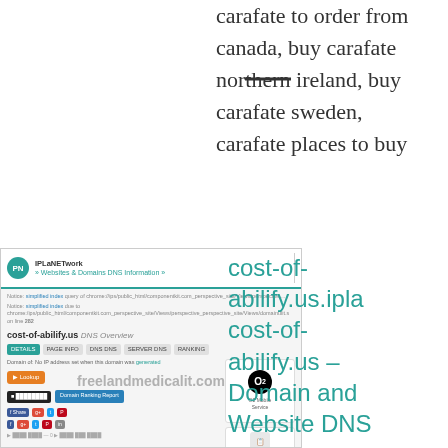carafate to order from canada, buy carafate northern ireland, buy carafate sweden, carafate places to buy
[Figure (screenshot): Screenshot of IPlanetwork website showing DNS overview for cost-of-abilify.us with O2 logo and social share buttons, overlaid with freelandmedicalit.com watermark text]
cost-of-abilify.us.ipla cost-of-abilify.us – Domain and Website DNS Information